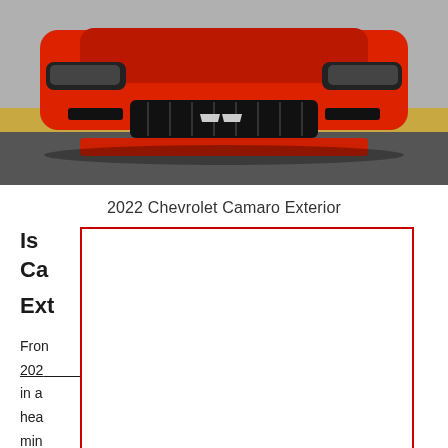[Figure (photo): Front view of a red 2022 Chevrolet Camaro on a road with dry grass in the background]
2022 Chevrolet Camaro Exterior
Is the Ca
Ext
From hing 202 tion in a ucky hea at in min new